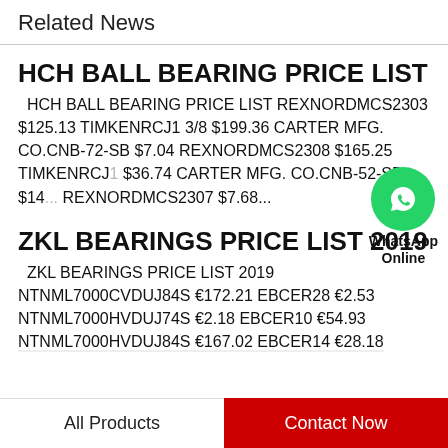Related News
HCH BALL BEARING PRICE LIST
HCH BALL BEARING PRICE LIST REXNORDMCS2303 $125.13 TIMKENRCJ1 3/8 $199.36 CARTER MFG. CO.CNB-72-SB $7.04 REXNORDMCS2308 $165.25 TIMKENRCJ1 $36.74 CARTER MFG. CO.CNB-52-SB $14... REXNORDMCS2307 $7.68...
[Figure (logo): WhatsApp Online green circle badge with phone icon and text 'WhatsApp Online']
ZKL BEARINGS PRICE LIST 2019
ZKL BEARINGS PRICE LIST 2019 NTNML7000CVDUJ84S €172.21 EBCER28 €2.53 NTNML7000HVDUJ74S €2.18 EBCER10 €54.93 NTNML7000HVDUJ84S €167.02 EBCER14 €28.18
All Products | Contact Now